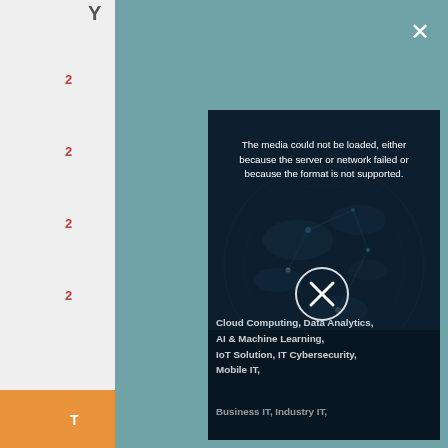[Figure (screenshot): A screenshot of a web page showing a video player modal overlay on a teal/slate background. The modal displays an error message 'The media could not be loaded, either because the server or network failed or because the format is not supported.' over a dark world-map background. Below shows a circular X button and text listing IT services: Cloud Computing, Data Analytics, AI & Machine Learning, IoT Solution, IT Cybersecurity, Mobile IT, Business IT, Industry IT. Left side shows partial navigation sidebar with orange/red elements.]